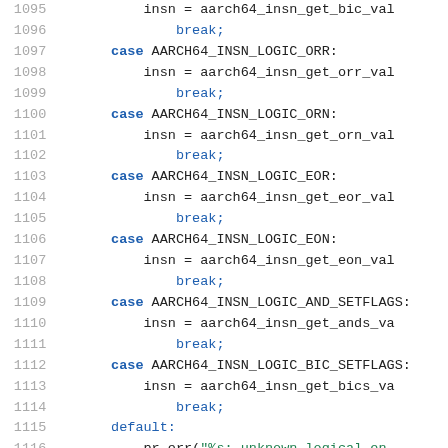Source code listing, lines 1095-1116, showing switch-case statements for AArch64 instruction logic operations